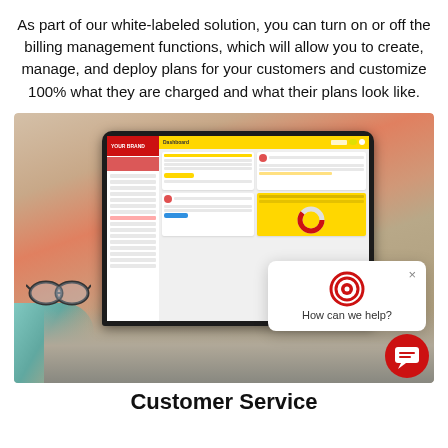As part of our white-labeled solution, you can turn on or off the billing management functions, which will allow you to create, manage, and deploy plans for your customers and customize 100% what they are charged and what their plans look like.
[Figure (screenshot): A person working on a laptop displaying a billing management dashboard with a red and yellow UI. A chat popup asking 'How can we help?' appears over the screen. Eyeglasses and hands on keyboard are visible.]
Customer Service